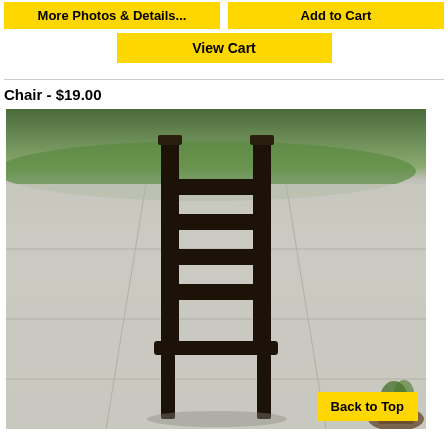More Photos & Details...
Add to Cart
View Cart
Chair - $19.00
[Figure (photo): Dark wooden ladder-back chair photographed outdoors on a concrete patio, with green lawn and shrubs in the background. A 'Back to Top' yellow button is overlaid in the bottom-right corner of the image.]
Back to Top